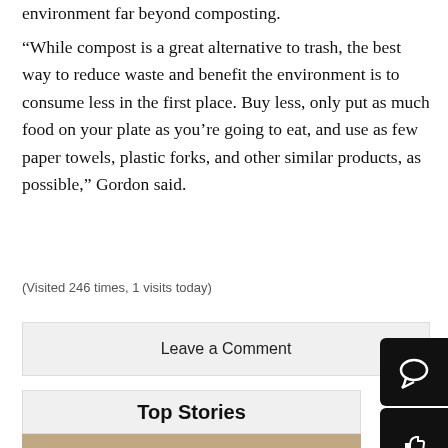environment far beyond composting.
“While compost is a great alternative to trash, the best way to reduce waste and benefit the environment is to consume less in the first place. Buy less, only put as much food on your plate as you’re going to eat, and use as few paper towels, plastic forks, and other similar products, as possible,” Gordon said.
(Visited 246 times, 1 visits today)
Leave a Comment
Top Stories
[Figure (photo): Bottom strip showing edge of a photo, likely a kitchen or indoor scene]